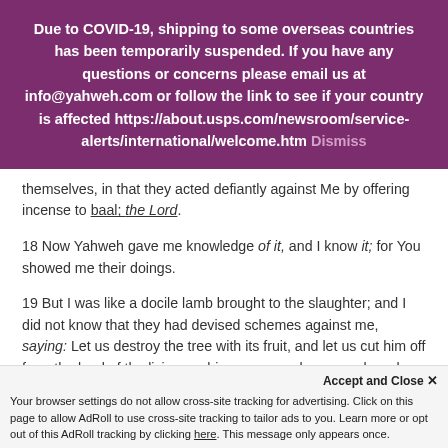Due to COVID-19, shipping to some overseas countries has been temporarily suspended. If you have any questions or concerns please email us at info@yahweh.com or follow the link to see if your country is affected https://about.usps.com/newsroom/service-alerts/international/welcome.htm Dismiss
themselves, in that they acted defiantly against Me by offering incense to baal; the Lord.
18 Now Yahweh gave me knowledge of it, and I know it; for You showed me their doings.
19 But I was like a docile lamb brought to the slaughter; and I did not know that they had devised schemes against me, saying: Let us destroy the tree with its fruit, and let us cut him off from the land of the living, so his name may be remembered no more.
Accept and Close ×
Your browser settings do not allow cross-site tracking for advertising. Click on this page to allow AdRoll to use cross-site tracking to tailor ads to you. Learn more or opt out of this AdRoll tracking by clicking here. This message only appears once.